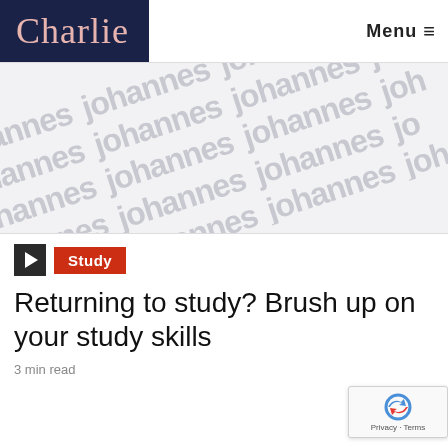Charlie  Menu ≡
[Figure (illustration): Watermark/background image with repeating diagonal 'johannes' text in light grey on a light grey background]
▶  Study
Returning to study? Brush up on your study skills
3 min read